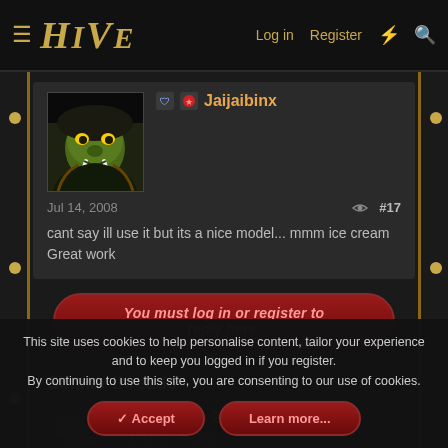HIVE  Log in  Register
[Figure (screenshot): User avatar showing an orc face (Warcraft-style) dark fantasy artwork]
Jaijaibinx
Jul 14, 2008  #17
cant say ill use it but its a nice model... mmm ice cream Great work
You must log in or register to reply here.
Similar threads
[Figure (screenshot): Thumbnail image for Ice Cream 2 model thread]
Ice Cream 2
D.O.G. · Models
Replies: 2 · Jun 11, 2008
This site uses cookies to help personalise content, tailor your experience and to keep you logged in if you register.
By continuing to use this site, you are consenting to our use of cookies.
✓ Accept   Learn more...